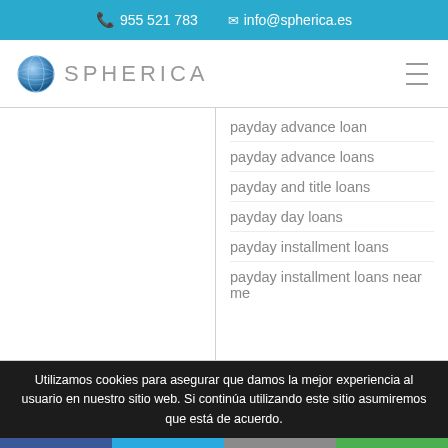955 521 783   info@spherica.es
[Figure (logo): Spherica logo with globe icon and text SPHERICA]
payday advance loan
payday advance loans
payday and title loans
payday day loans
payday installment loans
payday installment loans near me
Utilizamos cookies para asegurar que damos la mejor experiencia al usuario en nuestro sitio web. Si continúa utilizando este sitio asumiremos que está de acuerdo.
Facebook  Twitter  Email  WhatsApp